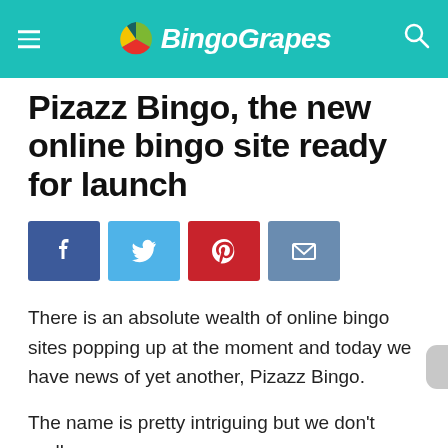BingoGrapes
Pizazz Bingo, the new online bingo site ready for launch
[Figure (infographic): Social share buttons: Facebook (blue), Twitter (light blue), Pinterest (red), Email (steel blue)]
There is an absolute wealth of online bingo sites popping up at the moment and today we have news of yet another, Pizazz Bingo.
The name is pretty intriguing but we don't really